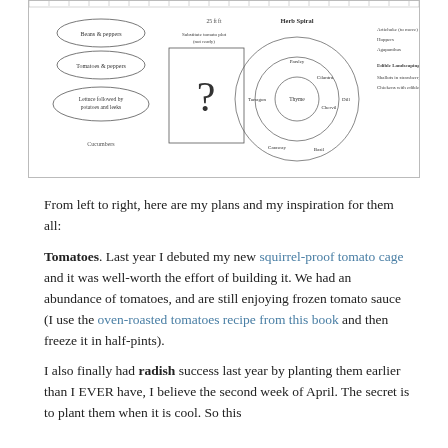[Figure (schematic): Garden planning diagram showing three sections: left section with oval shapes labeled 'Beans & peppers', 'Tomatoes & peppers', and 'Lettuce followed by potatoes and leeks' with 'Cucumbers' below; center section with a question mark box labeled 'Substitute tomato plot (not ready)' and '25 ft ft'; right section with concentric circles diagram labeled 'Herb Spiral' showing herbs including Thyme, Cilantro, Tarragon, Chervil, Dill, Caraway, Basil; and a right column with text 'Artichoke (to move)', 'Hoppers', 'Agapanthus', 'Edible Landscaping options', 'Shallots in strawberry bed', 'Chickens with edible cover'.]
From left to right, here are my plans and my inspiration for them all:
Tomatoes. Last year I debuted my new squirrel-proof tomato cage and it was well-worth the effort of building it. We had an abundance of tomatoes, and are still enjoying frozen tomato sauce (I use the oven-roasted tomatoes recipe from this book and then freeze it in half-pints).
I also finally had radish success last year by planting them earlier than I EVER have, I believe the second week of April. The secret is to plant them when it is cool. So this